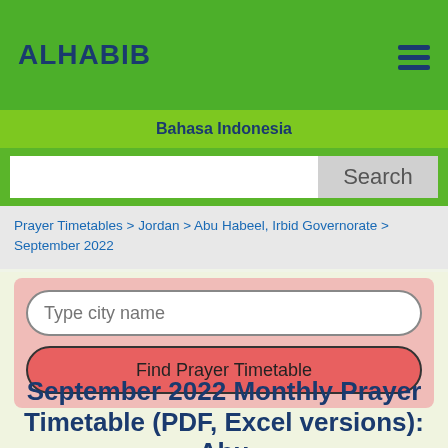ALHABIB
Bahasa Indonesia
Search
Prayer Timetables > Jordan > Abu Habeel, Irbid Governorate > September 2022
Type city name
Find Prayer Timetable
September 2022 Monthly Prayer Timetable (PDF, Excel versions): Abu